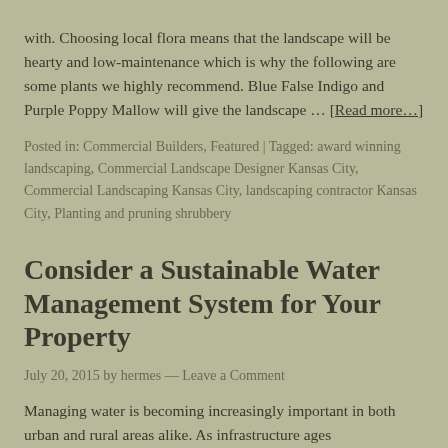with. Choosing local flora means that the landscape will be hearty and low-maintenance which is why the following are some plants we highly recommend. Blue False Indigo and Purple Poppy Mallow will give the landscape … [Read more…]
Posted in: Commercial Builders, Featured | Tagged: award winning landscaping, Commercial Landscape Designer Kansas City, Commercial Landscaping Kansas City, landscaping contractor Kansas City, Planting and pruning shrubbery
Consider a Sustainable Water Management System for Your Property
July 20, 2015 by hermes — Leave a Comment
Managing water is becoming increasingly important in both urban and rural areas alike. As infrastructure ages